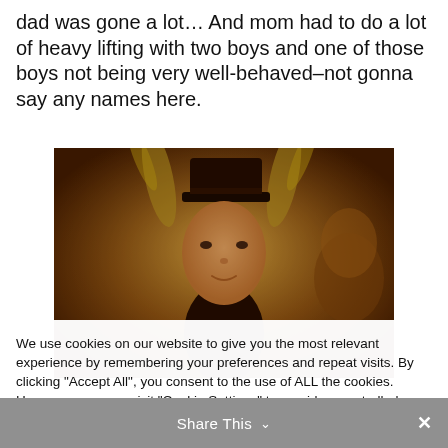dad was gone a lot… And mom had to do a lot of heavy lifting with two boys and one of those boys not being very well-behaved–not gonna say any names here.
[Figure (photo): Warm-toned photo of a young person wearing a dark hat, with antler-like decorations visible in background, amber/golden lighting]
We use cookies on our website to give you the most relevant experience by remembering your preferences and repeat visits. By clicking "Accept All", you consent to the use of ALL the cookies. However, you may visit "Cookie Settings" to provide a controlled consent. You may also scroll to the bottom to read our Cookie Policy.
Cookie Settings   Accept All
Share This ∨  ✕